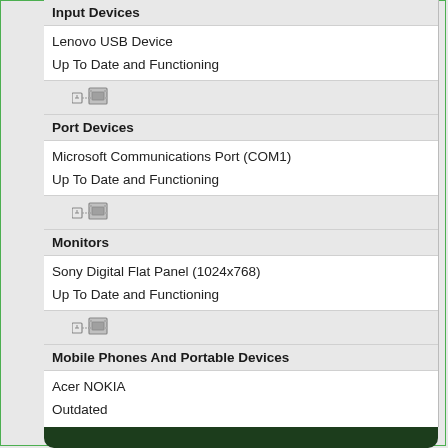Input Devices
Lenovo USB Device
Up To Date and Functioning
[Figure (screenshot): Tree expand icon with chip icon]
Port Devices
Microsoft Communications Port (COM1)
Up To Date and Functioning
[Figure (screenshot): Tree expand icon with chip icon]
Monitors
Sony Digital Flat Panel (1024x768)
Up To Date and Functioning
[Figure (screenshot): Tree expand icon with chip icon]
Mobile Phones And Portable Devices
Acer NOKIA
Outdated